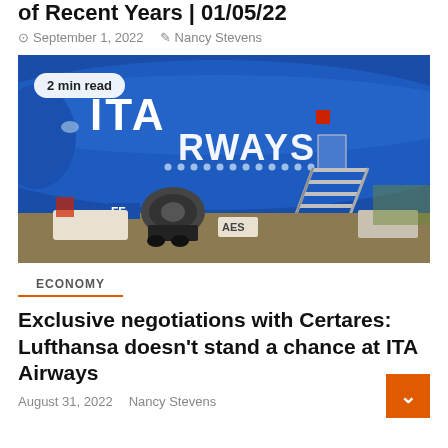of Recent Years | 01/05/22
September 1, 2022  Nancy Stevens
[Figure (photo): Close-up photo of an ITA Airways aircraft (blue livery with white ITA AIRWAYS lettering) with a boarding staircase attached. Ground equipment visible below including an AES vehicle. 2 min read badge overlaid on top-left.]
ECONOMY
Exclusive negotiations with Certares: Lufthansa doesn't stand a chance at ITA Airways
August 31, 2022  Nancy Stevens